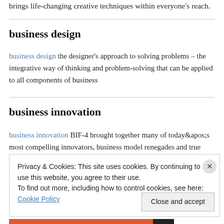brings life-changing creative techniques within everyone's reach.
business design
business design the designer's approach to solving problems – the integrative way of thinking and problem-solving that can be applied to all components of business
business innovation
business innovation BIF-4 brought together many of today&apos;s most compelling innovators, business model renegades and true
Privacy & Cookies: This site uses cookies. By continuing to use this website, you agree to their use.
To find out more, including how to control cookies, see here: Cookie Policy